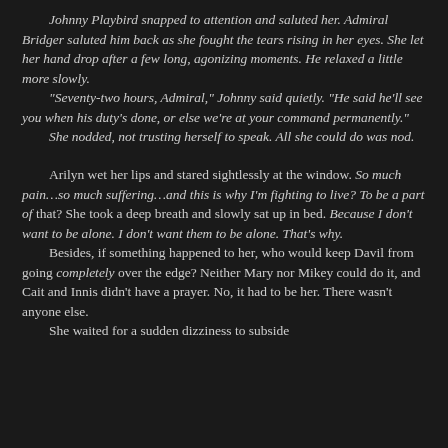Johnny Playbird snapped to attention and saluted her. Admiral Bridger saluted him back as she fought the tears rising in her eyes. She let her hand drop after a few long, agonizing moments. He relaxed a little more slowly. "Seventy-two hours, Admiral," Johnny said quietly. "He said he'll see you when his duty's done, or else we're at your command permanently." She nodded, not trusting herself to speak. All she could do was nod.
Arilyn wet her lips and stared sightlessly at the window. So much pain…so much suffering…and this is why I'm fighting to live? To be a part of that? She took a deep breath and slowly sat up in bed. Because I don't want to be alone. I don't want them to be alone. That's why.
Besides, if something happened to her, who would keep Davil from going completely over the edge? Neither Mary nor Mikey could do it, and Cait and Innis didn't have a prayer. No, it had to be her. There wasn't anyone else. She waited for a sudden dizziness to subside